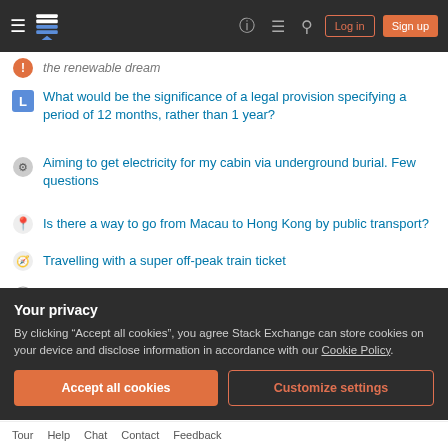Stack Exchange navigation bar with hamburger, logo, help, chat, search, Log in, Sign up
What would be the significance of a legal provision specifying a period of 12 months, rather than 1 year?
Aiming to get electricity for my cabin via underground burial. Few questions
Is there a way to go from Macau to Hong Kong by public transport?
Travelling with a super off-peak train ticket
Short story about alien transmission which ends with the aliens' star exploding
How are these remote/headless display dongles used?
How realistic is the science behind the Buzz Lightyear movie?
Your privacy
By clicking "Accept all cookies", you agree Stack Exchange can store cookies on your device and disclose information in accordance with our Cookie Policy.
Accept all cookies | Customize settings
Tour  Help  Chat  Contact  Feedback